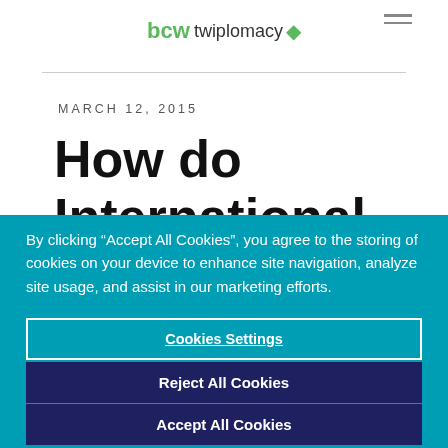bcw twiplomacy
MARCH 12, 2015
How do
International
By clicking “Accept All Cookies”, you agree to the storing of cookies on your device to enhance site navigation, analyze site usage, and assist in our marketing efforts.
Cookies Settings
Reject All Cookies
Accept All Cookies